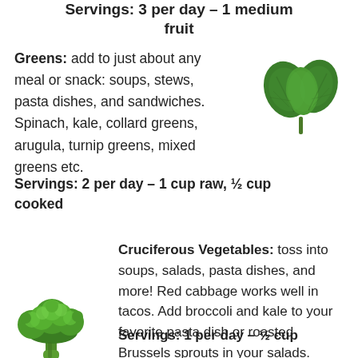Servings: 3 per day – 1 medium fruit
Greens: add to just about any meal or snack: soups, stews, pasta dishes, and sandwiches. Spinach, kale, collard greens, arugula, turnip greens, mixed greens etc.
[Figure (photo): A heart-shaped kale leaf]
Servings: 2 per day – 1 cup raw, ½ cup cooked
Cruciferous Vegetables: toss into soups, salads, pasta dishes, and more! Red cabbage works well in tacos. Add broccoli and kale to your favorite pasta dish or roasted Brussels sprouts in your salads.
[Figure (photo): A green broccoli floret]
Servings: 1 per day – ½ cup chopped, 1 tablespoon horseradish